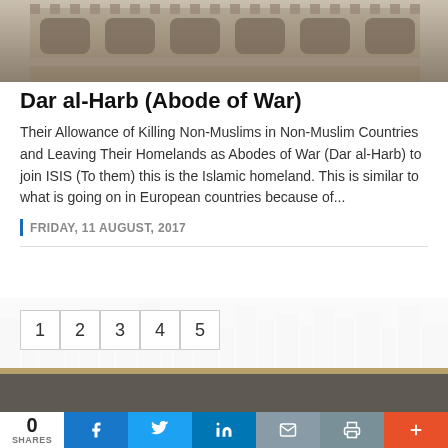[Figure (photo): Photograph of a Middle Eastern architectural facade, showing ornate stone carvings and arched windows, top portion of the page]
Dar al-Harb (Abode of War)
Their Allowance of Killing Non-Muslims in Non-Muslim Countries and Leaving Their Homelands as Abodes of War (Dar al-Harb) to join ISIS (To them) this is the Islamic homeland. This is similar to what is going on in European countries because of...
FRIDAY, 11 AUGUST, 2017
1  2  3  4  5
[Figure (photo): Faded cityscape silhouette background image]
0 SHARES | Facebook | Twitter | LinkedIn | Mail | Print | Plus